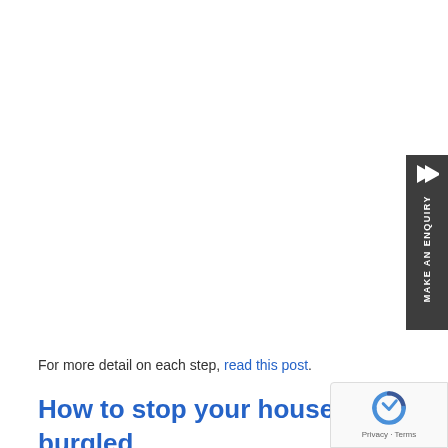[Figure (other): Dark gray sidebar button on the right edge with a right-pointing chevron/arrow icon and rotated text reading MAKE AN ENQUIRY]
For more detail on each step, read this post.
How to stop your house being burgled you never need this
[Figure (other): reCAPTCHA badge in bottom-right corner showing the reCAPTCHA logo and Privacy - Terms text]